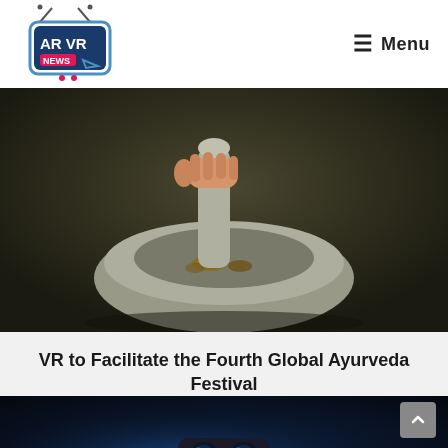AR VR NEWS — Menu
for email updates
[Figure (photo): Close-up of a hand using a pestle to grind herbs in a stone mortar bowl]
VR to Facilitate the Fourth Global Ayurveda Festival
January 5, 2021
[Figure (photo): Dark photo of a person wearing a VR headset with blue ambient lighting]